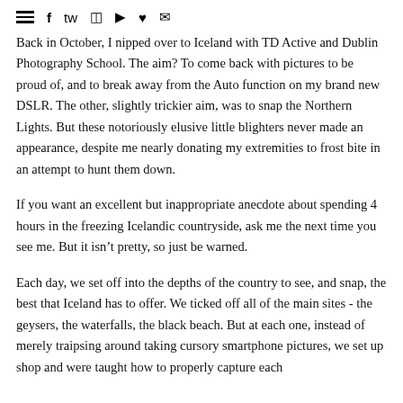≡ f 🐦 📷 ▶ ♥ ✉
Back in October, I nipped over to Iceland with TD Active and Dublin Photography School. The aim? To come back with pictures to be proud of, and to break away from the Auto function on my brand new DSLR. The other, slightly trickier aim, was to snap the Northern Lights. But these notoriously elusive little blighters never made an appearance, despite me nearly donating my extremities to frost bite in an attempt to hunt them down.
If you want an excellent but inappropriate anecdote about spending 4 hours in the freezing Icelandic countryside, ask me the next time you see me. But it isn't pretty, so just be warned.
Each day, we set off into the depths of the country to see, and snap, the best that Iceland has to offer. We ticked off all of the main sites - the geysers, the waterfalls, the black beach. But at each one, instead of merely traipsing around taking cursory smartphone pictures, we set up shop and were taught how to properly capture each